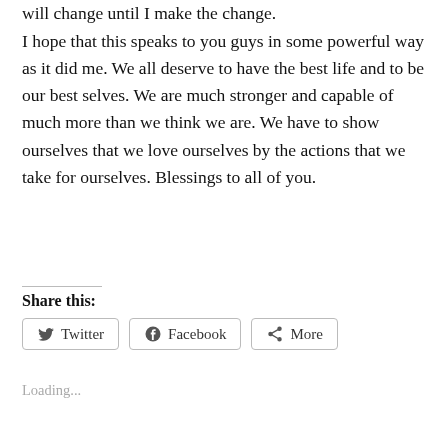will change until I make the change.
I hope that this speaks to you guys in some powerful way as it did me. We all deserve to have the best life and to be our best selves. We are much stronger and capable of much more than we think we are. We have to show ourselves that we love ourselves by the actions that we take for ourselves. Blessings to all of you.
Share this:
Loading...